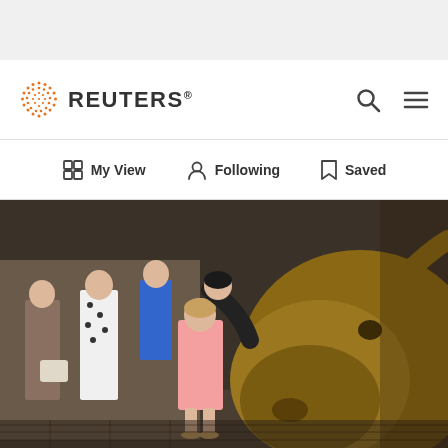Reuters
[Figure (logo): Reuters logo with orange dotted circle and REUTERS text in dark gray]
[Figure (screenshot): Navigation bar with My View, Following, and Saved tabs]
[Figure (photo): Photo of tourists near the Wall Street Charging Bull statue in New York City. A young girl in a pink dress stands looking up at a woman bending over near the large bronze bull statue, with a crowd of tourists visible in the background.]